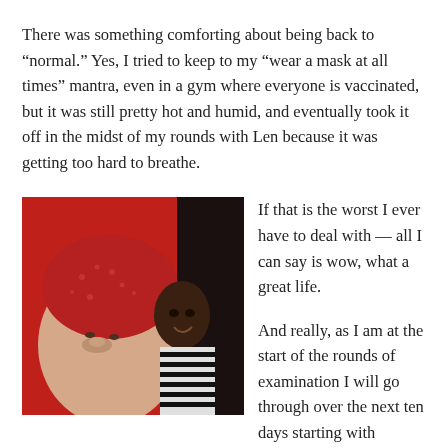There was something comforting about being back to “normal.” Yes, I tried to keep to my “wear a mask at all times” mantra, even in a gym where everyone is vaccinated, but it was still pretty hot and humid, and eventually took it off in the midst of my rounds with Len because it was getting too hard to breathe.
[Figure (photo): A selfie of a woman wearing a red patterned head covering in the foreground, with a man in a black and white striped shirt smiling behind her, against a red background.]
If that is the worst I ever have to deal with — all I can say is wow, what a great life.
And really, as I am at the start of the rounds of examination I will go through over the next ten days starting with tonight’s first night of